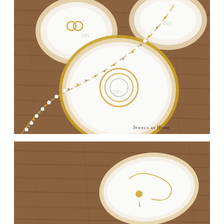[Figure (photo): Top-down view of white clay DIY jewelry dishes on a wood surface. Two smaller round dishes at top contain rings. A larger round dish with gold rim in the center holds a coiled beaded bracelet with gold and white beads. A long beaded necklace with white daisy spacers drapes across the wood surface and over the dishes.]
[Figure (photo): Partial top-down view of a white clay oval/round jewelry dish on a wood surface with a thin gold necklace with a pendant resting inside the dish.]